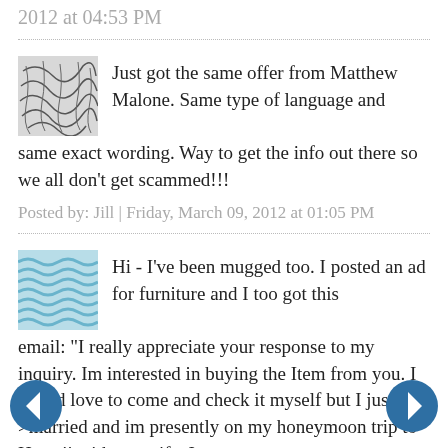2012 at 04:53 PM
Just got the same offer from Matthew Malone. Same type of language and same exact wording. Way to get the info out there so we all don't get scammed!!!
Posted by: Jill | Friday, March 09, 2012 at 01:05 PM
Hi - I've been mugged too. I posted an ad for furniture and I too got this email: "I really appreciate your response to my inquiry. Im interested in buying the Item from you. I would love to come and check it myself but I just got >married and im presently on my honeymoon trip to Hawaii with my wife. I